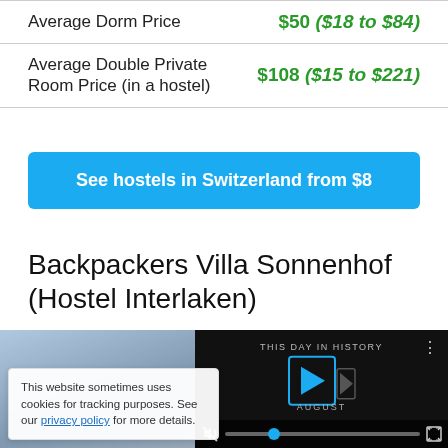|  |  |
| --- | --- |
| Average Dorm Price | $50 ($18 to $84) |
| Average Double Private Room Price (in a hostel) | $108 ($15 to $221) |
See hostels in Switzerland from $8
Backpackers Villa Sonnenhof (Hostel Interlaken)
[Figure (photo): Photo of hostel exterior with blue sky]
[Figure (screenshot): Video player showing 'This Day in History' with play button and progress bar]
This website sometimes uses cookies for tracking purposes. See our privacy policy for more details.